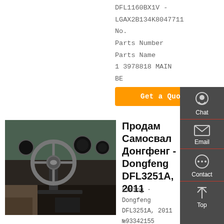DFL1160BX1V - LGAX2B134K8047711 No. Parts Number Parts Name 1 3978818 MAIN BE
Get a Quote
[Figure (photo): Interior of a Dongfeng dump truck cab showing steering wheel and dashboard]
Продам Самосвал Донгфенг - Dongfeng DFL3251A, 2011
Liming · Dongfeng DFL3251A, 2011 №93342155 Похожие объявления Камаз 55111, 2001 Камаз 55111, 10 350 об